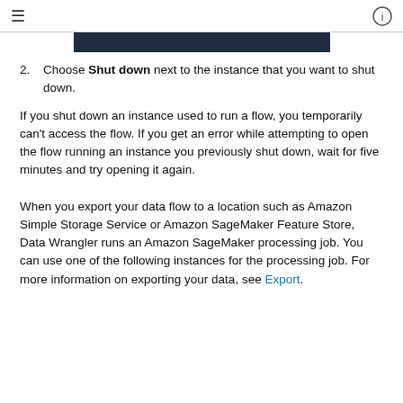≡  ⓘ
[Figure (screenshot): Dark navy/black screenshot bar showing a UI element]
2. Choose Shut down next to the instance that you want to shut down.
If you shut down an instance used to run a flow, you temporarily can't access the flow. If you get an error while attempting to open the flow running an instance you previously shut down, wait for five minutes and try opening it again.
When you export your data flow to a location such as Amazon Simple Storage Service or Amazon SageMaker Feature Store, Data Wrangler runs an Amazon SageMaker processing job. You can use one of the following instances for the processing job. For more information on exporting your data, see Export.